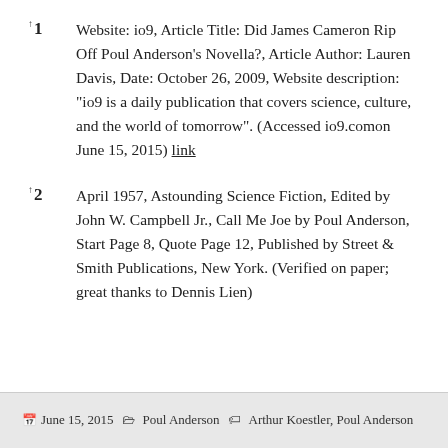↑1  Website: io9, Article Title: Did James Cameron Rip Off Poul Anderson's Novella?, Article Author: Lauren Davis, Date: October 26, 2009, Website description: "io9 is a daily publication that covers science, culture, and the world of tomorrow". (Accessed io9.comon June 15, 2015) link
↑2  April 1957, Astounding Science Fiction, Edited by John W. Campbell Jr., Call Me Joe by Poul Anderson, Start Page 8, Quote Page 12, Published by Street & Smith Publications, New York. (Verified on paper; great thanks to Dennis Lien)
June 15, 2015   Poul Anderson   Arthur Koestler, Poul Anderson